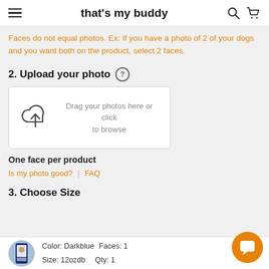that's my buddy
Faces do not equal photos. Ex: If you have a photo of 2 of your dogs and you want both on the product, select 2 faces.
2. Upload your photo
[Figure (infographic): Upload drop zone box with cloud upload icon and text: Drag your photos here or click to browse]
One face per product
Is my photo good?  |  FAQ
3. Choose Size
Color: Darkblue   Faces: 1   Size: 12ozdb   Qty: 1